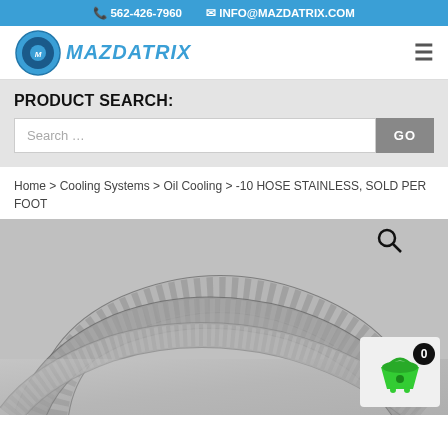562-426-7960  INFO@MAZDATRIX.COM
[Figure (logo): Mazdatrix logo with gear/rotor icon and italic blue text]
PRODUCT SEARCH:
Search ...
Home > Cooling Systems > Oil Cooling > -10 HOSE STAINLESS, SOLD PER FOOT
[Figure (photo): Close-up photo of stainless steel braided hose coiled up]